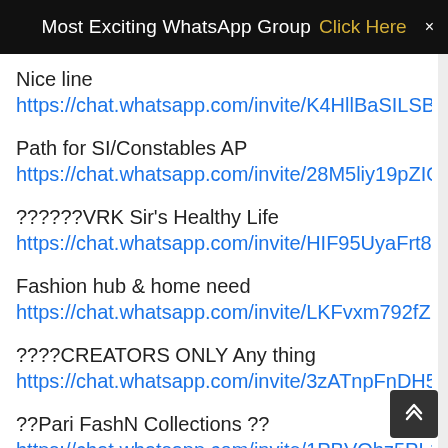Most Exciting WhatsApp Group  Click Here  ×
Nice line
https://chat.whatsapp.com/invite/K4HllBaSILSBsx7lZve
Path for SI/Constables AP
https://chat.whatsapp.com/invite/28M5liy19pZIQvQhGb
??????VRK Sir's Healthy Life
https://chat.whatsapp.com/invite/HIF95UyaFrt8rKaG92
Fashion hub & home need
https://chat.whatsapp.com/invite/LKFvxm792fZ1B2Hjn
????CREATORS ONLY Any thing
https://chat.whatsapp.com/invite/3zATnpFnDH50XZdg
??Pari FashN Collections ??
https://chat.whatsapp.com/invite/1PBVQhz5PL1z